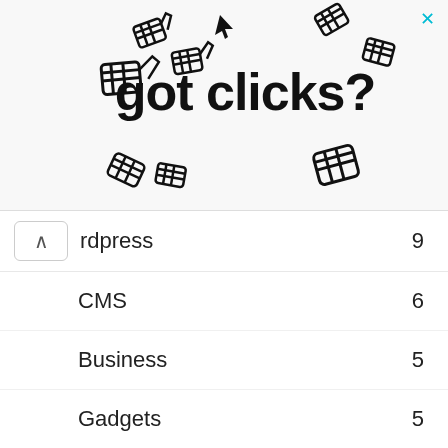[Figure (illustration): Got clicks? banner with cursor/hand pointer icons scattered around the text on a light gray background]
rdpress 9
CMS 6
Business 5
Gadgets 5
EDITOR PICKS
Cpa definition and Cpa course for earn 5000$ weekly
September 20, 2018